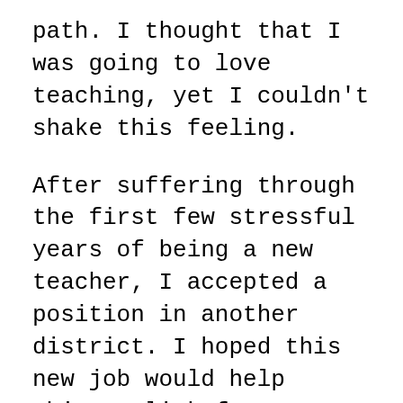path. I thought that I was going to love teaching, yet I couldn't shake this feeling.
After suffering through the first few stressful years of being a new teacher, I accepted a position in another district. I hoped this new job would help things click for me. After all, it was my dream teaching position. I remember setting up my classroom, excited for the fresh start.
Instead of a fresh start, I experienced